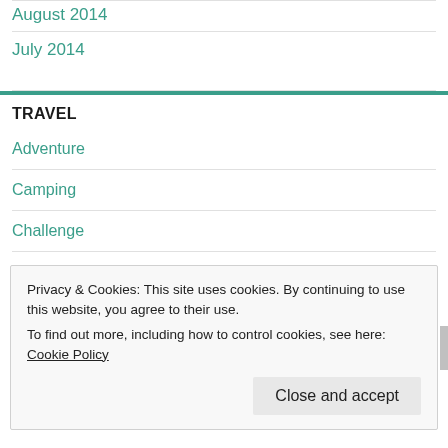August 2014
July 2014
TRAVEL
Adventure
Camping
Challenge
covid
Privacy & Cookies: This site uses cookies. By continuing to use this website, you agree to their use.
To find out more, including how to control cookies, see here: Cookie Policy
Close and accept